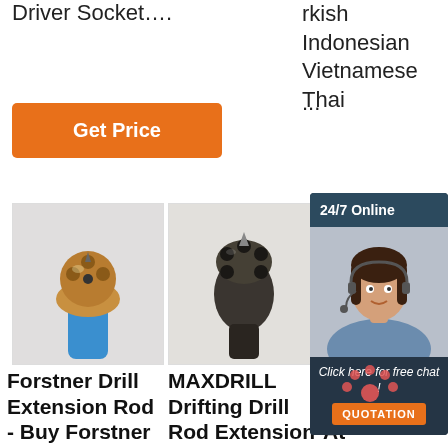Driver Socket….
rkish Indonesian Vietnamese Thai
...
[Figure (other): Orange 'Get Price' button on left side]
[Figure (other): Partial orange 'G...' Get Price button on right side]
[Figure (other): 24/7 Online chat widget with woman wearing headset, 'Click here for free chat!' text and QUOTATION button]
[Figure (photo): Forstner drill bit with blue shank on white background]
[Figure (photo): MAXDRILL drifting drill rod bit on white background]
[Figure (photo): Drill bit extension product, partially visible]
Forstner Drill Extension Rod - Buy Forstner Drill
MAXDRILL Drifting Drill Rod Extension
Drill Bit Extension At Lowes.Com
Bosh 10mm Ha...